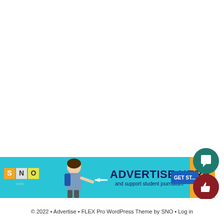[Figure (infographic): SNO Ads advertisement banner with cyan/orange background showing a student pointing, with text 'ADVERTISE HERE and support student journalism' and a 'GET ST...' button]
© 2022 • Advertise • FLEX Pro WordPress Theme by SNO • Log in